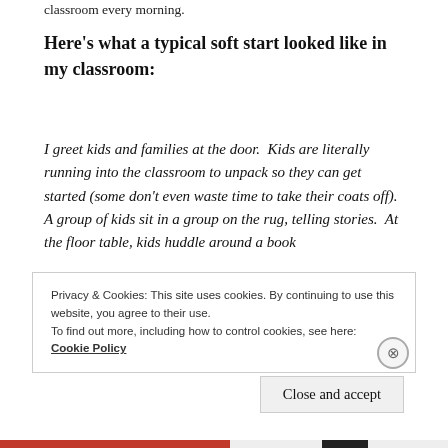classroom every morning.
Here's what a typical soft start looked like in my classroom:
I greet kids and families at the door.  Kids are literally running into the classroom to unpack so they can get started (some don't even waste time to take their coats off).  A group of kids sit in a group on the rug, telling stories.  At the floor table, kids huddle around a book
Privacy & Cookies: This site uses cookies. By continuing to use this website, you agree to their use.
To find out more, including how to control cookies, see here:
Cookie Policy
Close and accept